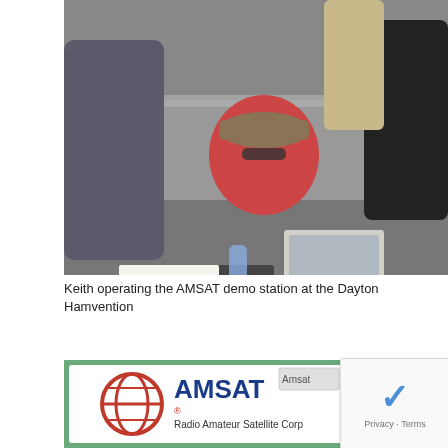[Figure (photo): Outdoor scene with a man in a red shirt and hat sitting at a folding table with a laptop, radio equipment, cables, and a battery. Other people stand nearby. The setting appears to be an outdoor event (Dayton Hamvention). Metal barrier fencing and parked cars are visible in the background.]
Keith operating the AMSAT demo station at the Dayton Hamvention
[Figure (photo): Partial photo showing an AMSAT booth display with the AMSAT logo (red globe icon), text reading 'AMSAT' in large blue letters, and 'Radio Amateur Satellite Corp' below. An 'Amsat' label tag is visible. The right side shows a dark wooden door or panel.]